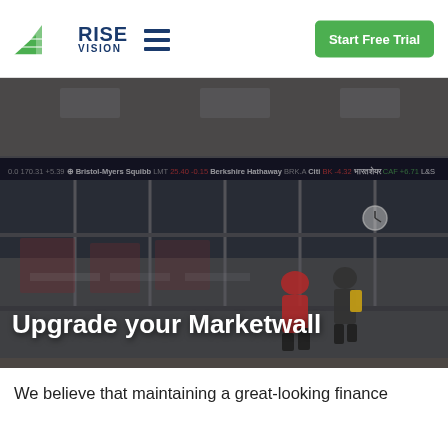[Figure (logo): Rise Vision logo with green triangle/chart icon and blue RISE VISION text, followed by hamburger menu icon]
Start Free Trial
[Figure (photo): Interior photo of a building lobby/trading floor with glass walls, stock market ticker display, and people walking. Overlay text reads: Upgrade your Marketwall]
Upgrade your Marketwall
We believe that maintaining a great-looking finance